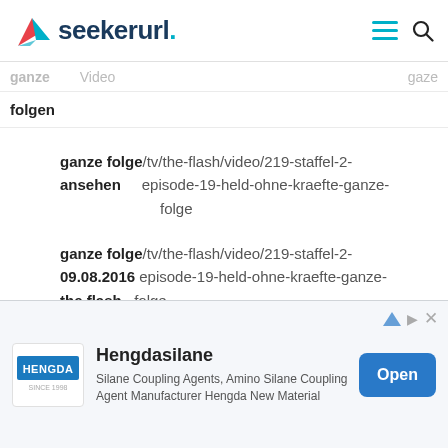seekerurl.
ganze folge /tv/the-flash/video/219-staffel-2-
ansehen episode-19-held-ohne-kraefte-ganze-folge
ganze folge /tv/the-flash/video/219-staffel-2-
09.08.2016 episode-19-held-ohne-kraefte-ganze-
the flash folge
ganze folge /tv/taff/video/20167-taff-vom-9-august-
09.08.2016 2016-ganze-folge
[Figure (screenshot): Advertisement banner for Hengdasilane featuring Hengda logo, title 'Hengdasilane', description about Silane Coupling Agents, and an Open button]